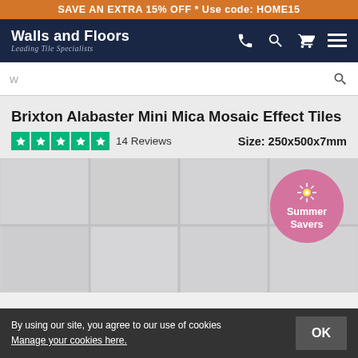SAVE AN EXTRA 15% OFF * Use code: HOME15
[Figure (screenshot): Walls and Floors website header with logo and navigation icons (phone, search, cart, menu)]
w (search bar placeholder)
Brixton Alabaster Mini Mica Mosaic Effect Tiles
14 Reviews   Size: 250x500x7mm
[Figure (photo): Light grey mosaic effect tiles arranged in a grid pattern with a pink Summer Savers promotional badge]
By using our site, you agree to our use of cookies Manage your cookies here.